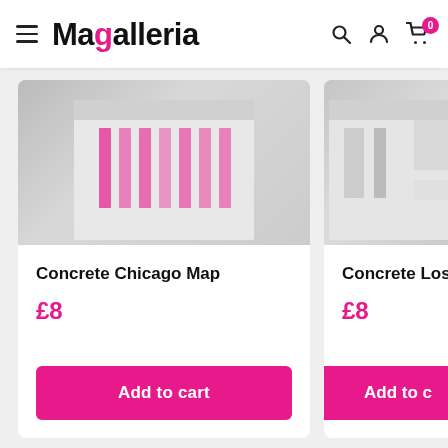Magalleria — navigation header with search, account, and cart icons
[Figure (photo): Product image for Concrete Chicago Map — blurred/cropped magazine or map product image showing pink elements]
Concrete Chicago Map
£8
Add to cart
[Figure (photo): Product image for Concrete Los Angeles — partially visible product image cropped at right edge]
Concrete Los Ange...
£8
Add to c...